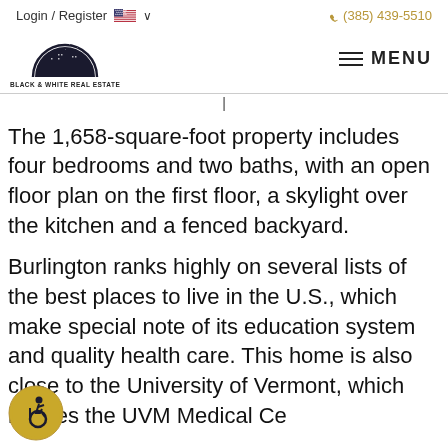Login / Register  🇺🇸 ∨   (385) 439-5510
[Figure (logo): Black and White Real Estate logo: cityscape silhouette in a semicircle, with text BLACK & WHITE REAL ESTATE below]
The 1,658-square-foot property includes four bedrooms and two baths, with an open floor plan on the first floor, a skylight over the kitchen and a fenced backyard.
Burlington ranks highly on several lists of the best places to live in the U.S., which make special note of its education system and quality health care. This home is also close to the University of Vermont, which houses the UVM Medical Ce
[Figure (illustration): Accessibility badge icon: gold circle with wheelchair user symbol]